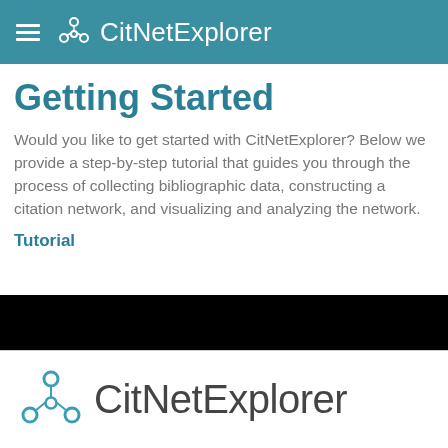CitNetExplorer
Getting Started
Would you like to get started with CitNetExplorer? Below we provide a step-by-step tutorial that guides you through the process of collecting bibliographic data, constructing a citation network, and visualizing and analyzing the network.
Tutorial
[Figure (screenshot): Video thumbnail with black background showing CitNetExplorer logo (network icon + CitNetExplorer text) on white background below]